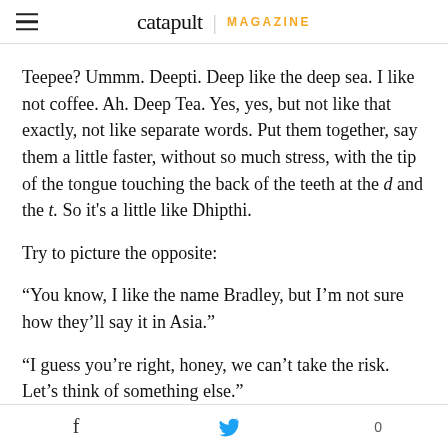catapult MAGAZINE
Teepee? Ummm. Deepti. Deep like the deep sea. I like not coffee. Ah. Deep Tea. Yes, yes, but not like that exactly, not like separate words. Put them together, say them a little faster, without so much stress, with the tip of the tongue touching the back of the teeth at the d and the t. So it's a little like Dhipthi.
Try to picture the opposite:
“You know, I like the name Bradley, but I’m not sure how they’ll say it in Asia.”
“I guess you’re right, honey, we can’t take the risk. Let’s think of something else.”
f  [twitter bird]  0